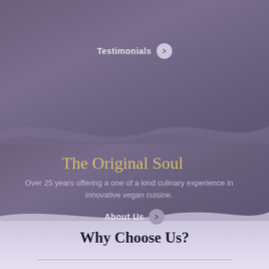Testimonials >
The Original Soul
Over 25 years offering a one of a kind culinary experience in innovative vegan cuisine.
About Us >
Why Choose Us?